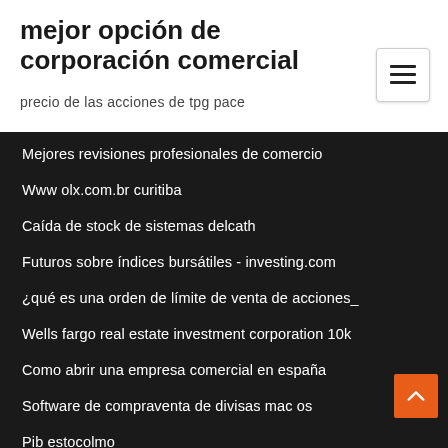mejor opción de corporación comercial
precio de las acciones de tpg pace
Mejores revisiones profesionales de comercio
Www olx.com.br curitiba
Caída de stock de sistemas delcath
Futuros sobre índices bursátiles - investing.com
¿qué es una orden de límite de venta de acciones_
Wells fargo real estate investment corporation 10k
Como abrir una empresa comercial en españa
Software de compraventa de divisas mac os
Pib estocolmo